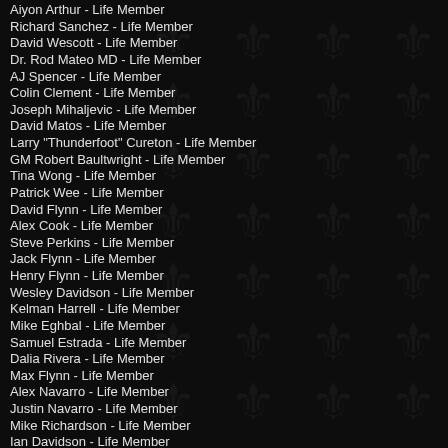Aiyon Arthur - Life Member
Richard Sanchez - Life Member
David Wescott - Life Member
Dr. Rod Mateo MD - Life Member
AJ Spencer - Life Member
Colin Clement - Life Member
Joseph Mihaljevic - Life Member
David Matos - Life Member
Larry "Thunderfoot" Cureton - Life Member
GM Robert Baultwright - Life Member
Tina Wong - Life Member
Patrick Wee - Life Member
David Flynn - Life Member
Alex Cook - Life Member
Steve Perkins - Life Member
Jack Flynn - Life Member
Henry Flynn - Life Member
Wesley Davidson - Life Member
Kelman Harrell - Life Member
Mike Eghbal - Life Member
Samuel Estrada - Life Member
Dalia Rivera - Life Member
Max Flynn - Life Member
Alex Navarro - Life Member
Justin Navarro - Life Member
Mike Richardson - Life Member
Ian Davidson - Life Member
John Zafutto - Life Member
John Dacre - Life Member
Luis Esquida - Life Member
Teo Ayala - Life Member